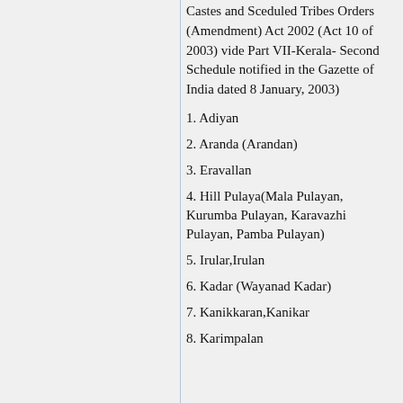Castes and Sceduled Tribes Orders (Amendment) Act 2002 (Act 10 of 2003) vide Part VII-Kerala- Second Schedule notified in the Gazette of India dated 8 January, 2003)
1. Adiyan
2. Aranda (Arandan)
3. Eravallan
4. Hill Pulaya(Mala Pulayan, Kurumba Pulayan, Karavazhi Pulayan, Pamba Pulayan)
5. Irular,Irulan
6. Kadar (Wayanad Kadar)
7. Kanikkaran,Kanikar
8. Karimpalan